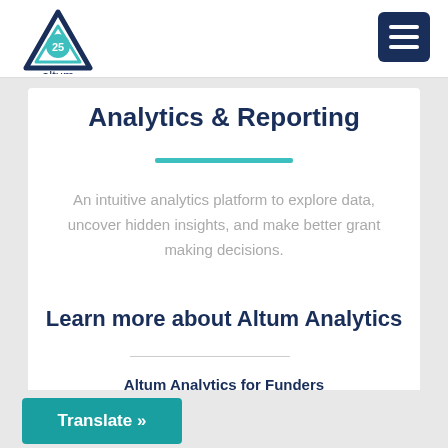[Figure (logo): Altum logo with triangle/mountain icon and '25' badge, with 'altum' text below]
[Figure (other): Hamburger menu icon (three horizontal lines) on dark navy blue square button]
Analytics & Reporting
An intuitive analytics platform to explore data, uncover hidden insights, and make better grant making decisions.
Learn more about Altum Analytics
Altum Analytics for Funders
Translate »